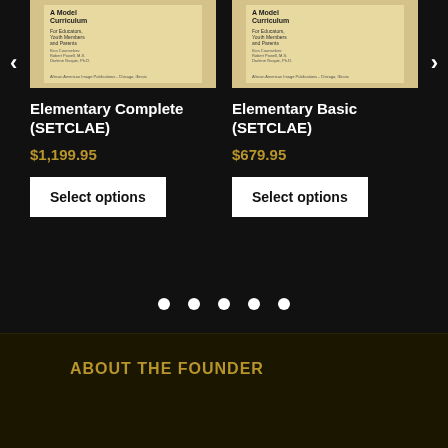[Figure (illustration): Book cover for Elementary Complete (SETCLAE) - beige/tan colored curriculum book cover]
Elementary Complete (SETCLAE)
$1,199.95
Select options
[Figure (illustration): Book cover for Elementary Basic (SETCLAE) - beige/tan colored curriculum book cover]
Elementary Basic (SETCLAE)
$679.95
Select options
ABOUT THE FOUNDER